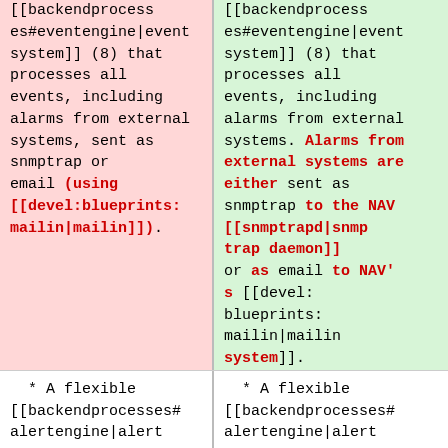[[backendprocesses#eventengine|event system]] (8) that processes all events, including alarms from external systems, sent as snmptrap or email (using [[devel:blueprints:mailin|mailin]]).
[[backendprocesses#eventengine|event system]] (8) that processes all events, including alarms from external systems. Alarms from external systems are either sent as snmptrap to the NAV [[snmptrapd|snmp trap daemon]] or as email to NAV's [[devel:blueprints:mailin|mailin system]].
* A flexible [[backendprocesses#alertengine|alert
* A flexible [[backendprocesses#alertengine|alert